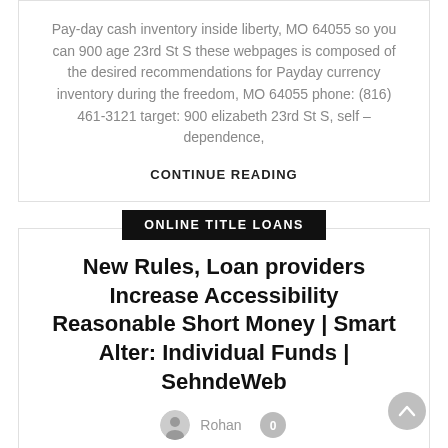Pay-day cash inventory inside liberty, MO 64055 so you can 900 age 23rd St S these webpages is composed of the desired recommendations for Payday currency inventory during the freedom, MO 64055 phone: (816) 461-3121 target: 900 elizabeth 23rd St S, self – dependence,
CONTINUE READING
ONLINE TITLE LOANS
New Rules, Loan providers Increase Accessibility Reasonable Short Money | Smart Alter: Individual Funds | SehndeWeb
Rohan  0
Rising prices possess including influenced those people who are already incapable of rating gas within their tanks and foo...